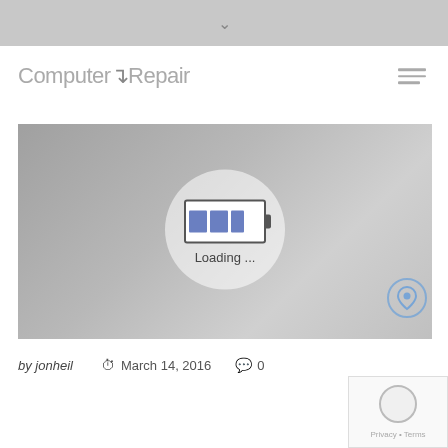Computer Repair
[Figure (photo): A person in white top repairing a hard drive disk. Image shows a loading screen overlay with a battery-style loading indicator and text 'Loading ...' centered on the image.]
by jonheil   March 14, 2016   0